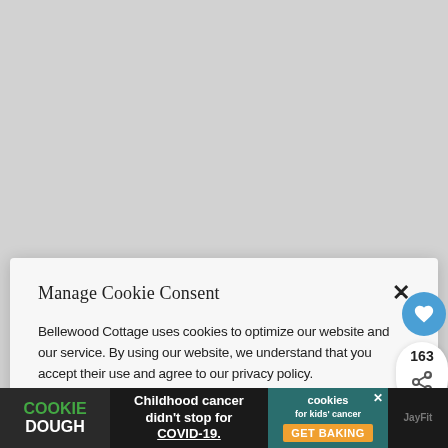Manage Cookie Consent
Bellewood Cottage uses cookies to optimize our website and our service. By using our website, we understand that you accept their use and agree to our privacy policy.
ACCEPT
Privacy Policy   Privacy Policy
163
WHAT'S NEXT → ALL Crumbl Cookie...
← PREVIOUS
How to Paint Mason
Office Survival Kit
COOKIE DOUGH
Childhood cancer didn't stop for COVID-19.
cookies for kids' cancer GET BAKING